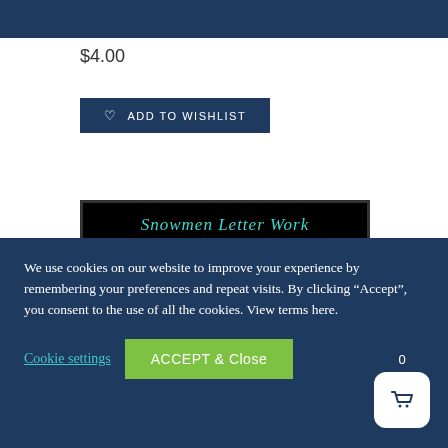$4.00
ADD TO WISHLIST
[Figure (illustration): Product thumbnail for 'Snowmen Letter Work Blends and Digraphs' educational resource. Black banner with teal/cyan stylized text reading 'Snowmen Letter Work blends and digraphs', below which white section reads 'Great for literacy centers, word work, & RTI Intervention Groups!']
We use cookies on our website to improve your experience by remembering your preferences and repeat visits. By clicking “Accept”, you consent to the use of all the cookies. View terms here.
Cookie settings
ACCEPT & Close